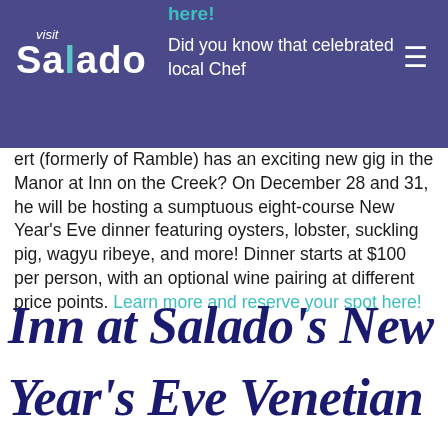Visit Salado
here! Did you know that celebrated local Chef ert (formerly of Ramble) has an exciting new gig in the Manor at Inn on the Creek? On December 28 and 31, he will be hosting a sumptuous eight-course New Year's Eve dinner featuring oysters, lobster, suckling pig, wagyu ribeye, and more! Dinner starts at $100 per person, with an optional wine pairing at different price points. Learn more and reserve your spot here!
Inn at Salado's New Year's Eve Venetian
Masquerade